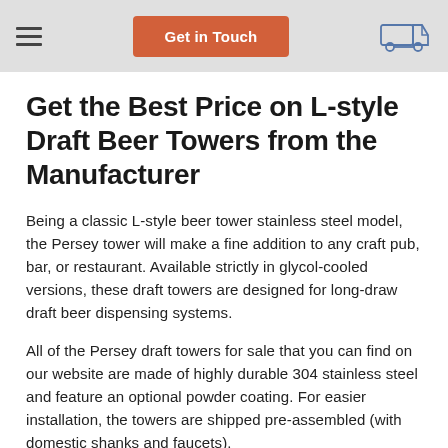Get in Touch
Get the Best Price on L-style Draft Beer Towers from the Manufacturer
Being a classic L-style beer tower stainless steel model, the Persey tower will make a fine addition to any craft pub, bar, or restaurant. Available strictly in glycol-cooled versions, these draft towers are designed for long-draw draft beer dispensing systems.
All of the Persey draft towers for sale that you can find on our website are made of highly durable 304 stainless steel and feature an optional powder coating. For easier installation, the towers are shipped pre-assembled (with domestic shanks and faucets).